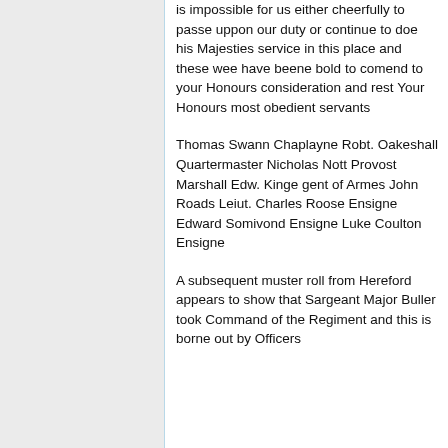is impossible for us either cheerfully to passe uppon our duty or continue to doe his Majesties service in this place and these wee have beene bold to comend to your Honours consideration and rest Your Honours most obedient servants
Thomas Swann Chaplayne Robt. Oakeshall Quartermaster Nicholas Nott Provost Marshall Edw. Kinge gent of Armes John Roads Leiut. Charles Roose Ensigne Edward Somivond Ensigne Luke Coulton Ensigne
A subsequent muster roll from Hereford appears to show that Sargeant Major Buller took Command of the Regiment and this is borne out by Officers